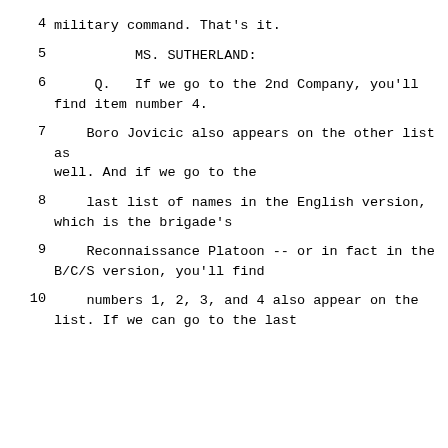4    military command.  That's it.
5              MS. SUTHERLAND:
6         Q.   If we go to the 2nd Company, you'll find item number 4.
7      Boro Jovicic also appears on the other list as well.  And if we go to the
8      last list of names in the English version, which is the brigade's
9      Reconnaissance Platoon -- or in fact in the B/C/S version, you'll find
10     numbers 1, 2, 3, and 4 also appear on the list.  If we can go to the last